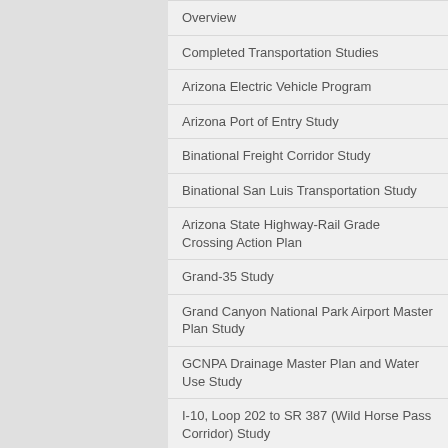Overview
Completed Transportation Studies
Arizona Electric Vehicle Program
Arizona Port of Entry Study
Binational Freight Corridor Study
Binational San Luis Transportation Study
Arizona State Highway-Rail Grade Crossing Action Plan
Grand-35 Study
Grand Canyon National Park Airport Master Plan Study
GCNPA Drainage Master Plan and Water Use Study
I-10, Loop 202 to SR 387 (Wild Horse Pass Corridor) Study
I-10 Gila River Bridges Study
I-10 and SR 210 Study
I-11 and Intermountain West Corridor Study